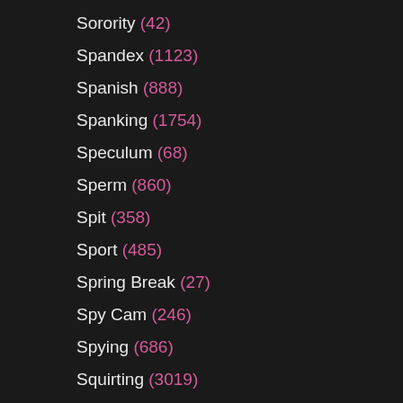Sorority (42)
Spandex (1123)
Spanish (888)
Spanking (1754)
Speculum (68)
Sperm (860)
Spit (358)
Sport (485)
Spring Break (27)
Spy Cam (246)
Spying (686)
Squirting (3019)
Squirting Compilation (54)
Starlet (16)
Stewardess (38)
Stockings (4663)